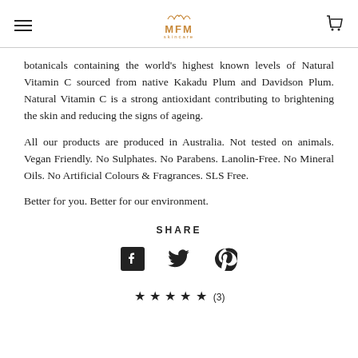MFM skincare
botanicals containing the world's highest known levels of Natural Vitamin C sourced from native Kakadu Plum and Davidson Plum. Natural Vitamin C is a strong antioxidant contributing to brightening the skin and reducing the signs of ageing.
All our products are produced in Australia. Not tested on animals. Vegan Friendly. No Sulphates. No Parabens. Lanolin-Free. No Mineral Oils. No Artificial Colours & Fragrances. SLS Free.
Better for you. Better for our environment.
SHARE
[Figure (infographic): Social share icons: Facebook, Twitter, Pinterest]
★ ★ ★ ★ ★ (3)